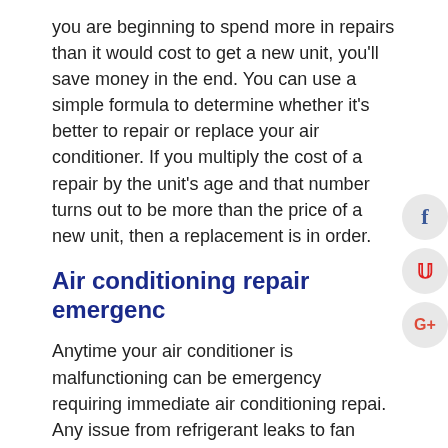you are beginning to spend more in repairs than it would cost to get a new unit, you'll save money in the end. You can use a simple formula to determine whether it's better to repair or replace your air conditioner. If you multiply the cost of a repair by the unit's age and that number turns out to be more than the price of a new unit, then a replacement is in order.
Air conditioning repair emergenc
Anytime your air conditioner is malfunctioning can be emergency requiring immediate air conditioning repai. Any issue from refrigerant leaks to fan motors stopping because they aren't getting enough power could be emergency. If your AC is down for any reason in Stryker, Bryan, and Napoleon, OH, and you need an emergency repair, give our team at call at 419-546-8424. We provide emergency air conditioning repair service 24/7.